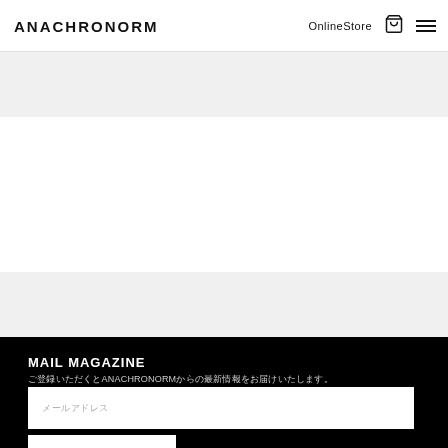ANACHRONORM | OnlineStore
MAIL MAGAZINE
メールアドレスをご入力いただくと、ANACHRONORMからのお知らせやお得な情報をお届けします。
メールアドレス (placeholder)